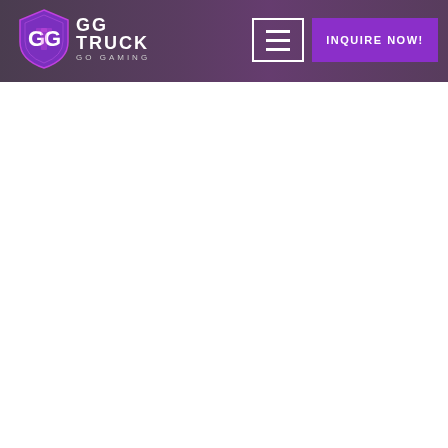GG TRUCK GO GAMING — INQUIRE NOW!
[Figure (logo): GG Truck Go Gaming logo with shield icon in purple/pink, white text GG TRUCK GO GAMING]